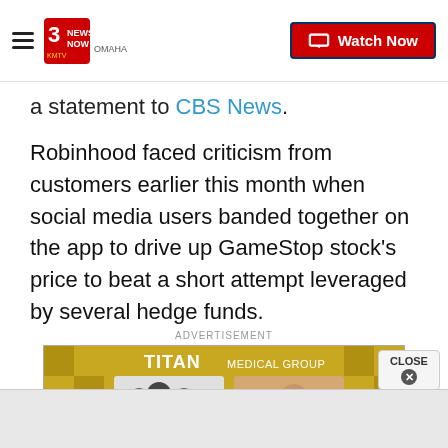3 News Now KMTV Omaha — Watch Now
a statement to CBS News.
Robinhood faced criticism from customers earlier this month when social media users banded together on the app to drive up GameStop stock's price to beat a short attempt leveraged by several hedge funds.
ADVERTISEMENT
[Figure (photo): Titan Medical Group advertisement banner showing two photos: a group of people in black shirts on the left, and a woman in a white coat smiling on the right, against a gold/checkered background.]
CLOSE ×